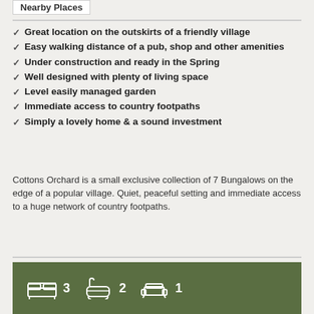Nearby Places
Great location on the outskirts of a friendly village
Easy walking distance of a pub, shop and other amenities
Under construction and ready in the Spring
Well designed with plenty of living space
Level easily managed garden
Immediate access to country footpaths
Simply a lovely home & a sound investment
Cottons Orchard is a small exclusive collection of 7 Bungalows on the edge of a popular village. Quiet, peaceful setting and immediate access to a huge network of country footpaths.
[Figure (infographic): Dark green bar showing property icons: bed icon with number 3, bath icon with number 2, sofa/lounge icon with number 1]